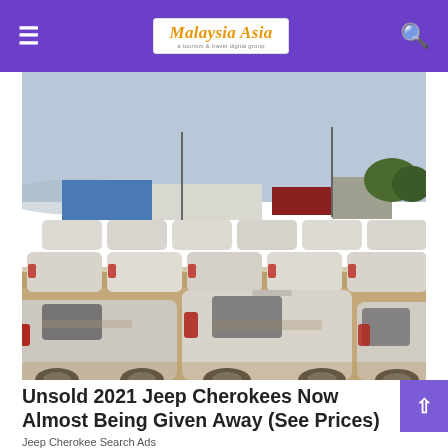Malaysia Asia — a tourism & travel digital group
[Figure (photo): Large outdoor car lot filled with rows of white SUVs/MPVs covered in dust, photographed from behind showing rear views, with industrial buildings and blue sky in background.]
Unsold 2021 Jeep Cherokees Now Almost Being Given Away (See Prices)
Jeep Cherokee Search Ads